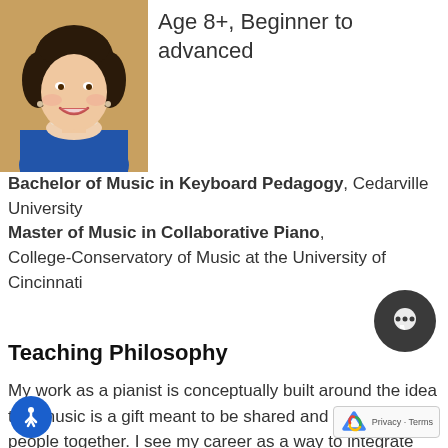[Figure (photo): Professional headshot of a smiling woman with dark curly hair, wearing a blue top and pearl necklace, on a gold/yellow background]
Age 8+, Beginner to advanced
Bachelor of Music in Keyboard Pedagogy, Cedarville University Master of Music in Collaborative Piano, College-Conservatory of Music at the University of Cincinnati
Teaching Philosophy
My work as a pianist is conceptually built around the idea that music is a gift meant to be shared and to bring people together. I see my career as a way to integrate the joy created performing collaboratively with the experience